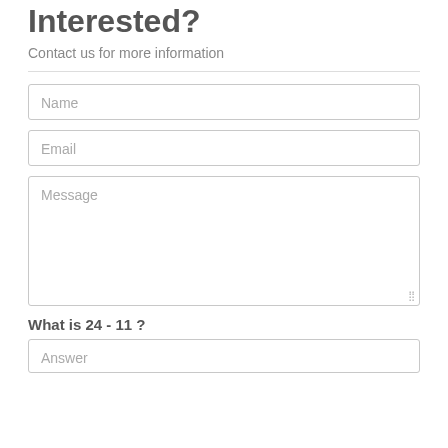Interested?
Contact us for more information
Name
Email
Message
What is 24 - 11 ?
Answer